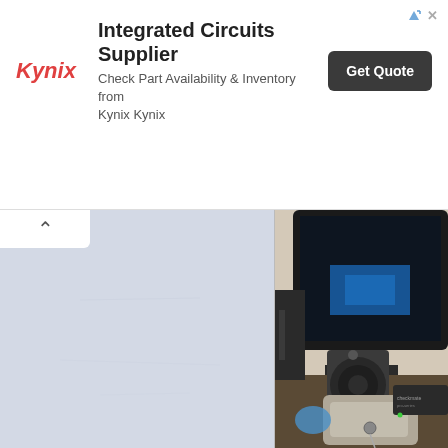[Figure (screenshot): Advertisement banner for Kynix Integrated Circuits Supplier with logo, text and Get Quote button]
[Figure (photo): Left: light blue-grey textured blank document/paper with an up-arrow tab in the top-left corner. Right: desk scene with a computer monitor showing blue screen, speakers, a lockbox with key, and other electronics.]